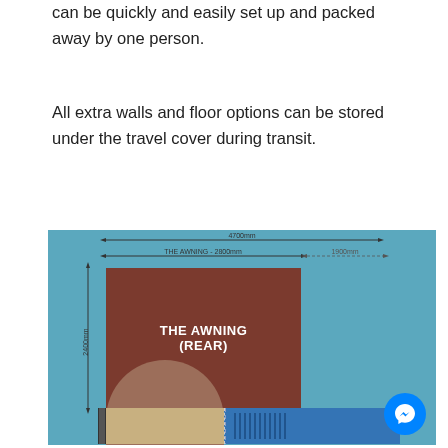can be quickly and easily set up and packed away by one person.
All extra walls and floor options can be stored under the travel cover during transit.
[Figure (engineering-diagram): Floor plan diagram of 'The Awning (Rear)' showing a top-down layout. The awning section is labeled 2800mm wide and 2400mm deep, shown as a brown rectangle. A teal/blue background represents the full area. Dimension arrows indicate THE AWNING - 2800mm horizontally. A smaller tan rectangle and blue rectangle are shown at the bottom representing other sections. A circular Messenger chat button appears in the bottom right corner.]